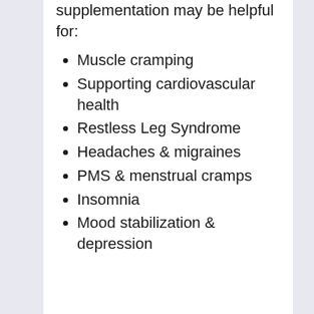supplementation may be helpful for:
Muscle cramping
Supporting cardiovascular health
Restless Leg Syndrome
Headaches & migraines
PMS & menstrual cramps
Insomnia
Mood stabilization & depression